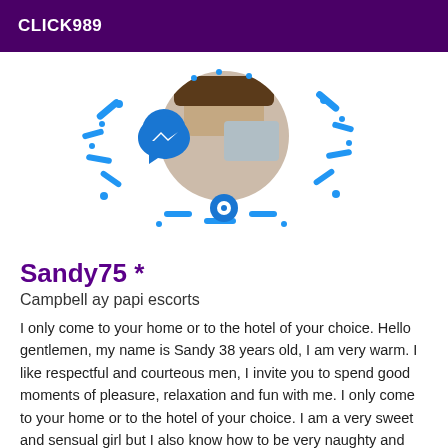CLICK989
[Figure (photo): Profile image with a circular photo (face partially visible) surrounded by a decorative blue Messenger-style QR code/pattern with dots, dashes, and icons in blue on white background.]
Sandy75 *
Campbell ay papi escorts
I only come to your home or to the hotel of your choice. Hello gentlemen, my name is Sandy 38 years old, I am very warm. I like respectful and courteous men, I invite you to spend good moments of pleasure, relaxation and fun with me. I only come to your home or to the hotel of your choice. I am a very sweet and sensual girl but I also know how to be very naughty and playful. I will do all my good things, so I'm sure that you, my customers will